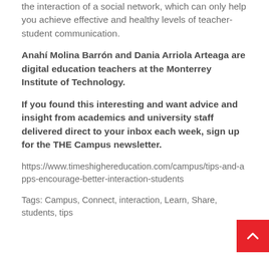the interaction of a social network, which can only help you achieve effective and healthy levels of teacher-student communication.
Anahí Molina Barrón and Dania Arriola Arteaga are digital education teachers at the Monterrey Institute of Technology.
If you found this interesting and want advice and insight from academics and university staff delivered direct to your inbox each week, sign up for the THE Campus newsletter.
https://www.timeshighereducation.com/campus/tips-and-apps-encourage-better-interaction-students
Tags: Campus, Connect, interaction, Learn, Share, students, tips